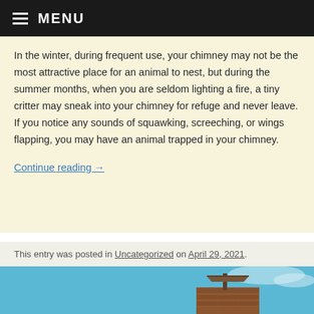MENU
In the winter, during frequent use, your chimney may not be the most attractive place for an animal to nest, but during the summer months, when you are seldom lighting a fire, a tiny critter may sneak into your chimney for refuge and never leave. If you notice any sounds of squawking, screeching, or wings flapping, you may have an animal trapped in your chimney.
Continue reading →
This entry was posted in Uncategorized on April 29, 2021.
[Figure (photo): A chimney on a rooftop against a blue sky, showing a metal chimney cap on top of a brick chimney structure.]